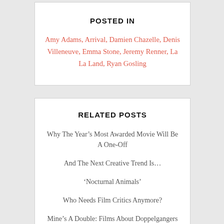POSTED IN
Amy Adams, Arrival, Damien Chazelle, Denis Villeneuve, Emma Stone, Jeremy Renner, La La Land, Ryan Gosling
RELATED POSTS
Why The Year’s Most Awarded Movie Will Be A One-Off
And The Next Creative Trend Is…
‘Nocturnal Animals’
Who Needs Film Critics Anymore?
Mine’s A Double: Films About Doppelgangers